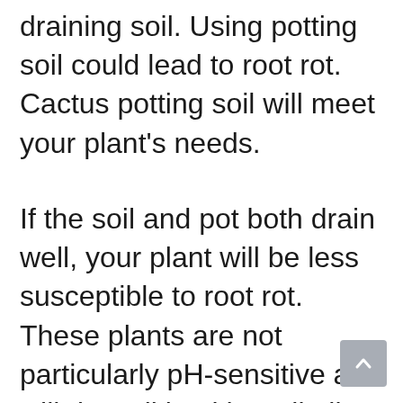draining soil. Using potting soil could lead to root rot. Cactus potting soil will meet your plant's needs.
If the soil and pot both drain well, your plant will be less susceptible to root rot. These plants are not particularly pH-sensitive and will do well in either alkaline or acidic soil.